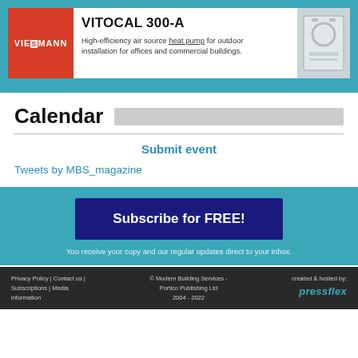[Figure (illustration): Viessmann VITOCAL 300-A advertisement banner. Red logo box with VIESSMANN on the left, product name VITOCAL 300-A in bold black, description text: High-efficiency air source heat pump for outdoor installation for offices and commercial buildings. Heat pump unit photo on the right.]
Calendar
Submit event
Tweets by MBS_magazine
Subscribe for FREE!
You receive your copy and our regular updates direct to your inbox.
Privacy Policy | Contact us | Subscriptions | Media information   © Modern Building Services - Portico Publishing Ltd 2004 - 2022   created & hosted by: pressflex